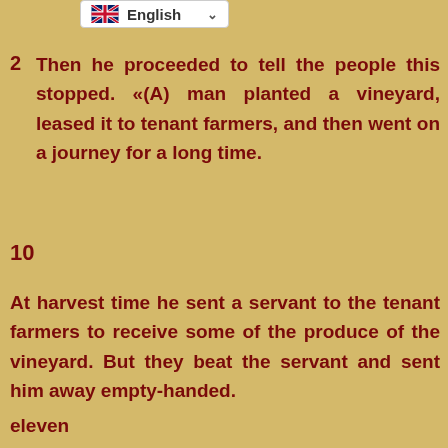[Figure (other): Language selector button showing UK flag and English label with dropdown chevron]
2 Then he proceeded to tell the people this stopped. «(A) man planted a vineyard, leased it to tenant farmers, and then went on a journey for a long time.
10
At harvest time he sent a servant to the tenant farmers to receive some of the produce of the vineyard. But they beat the servant and sent him away empty-handed.
eleven